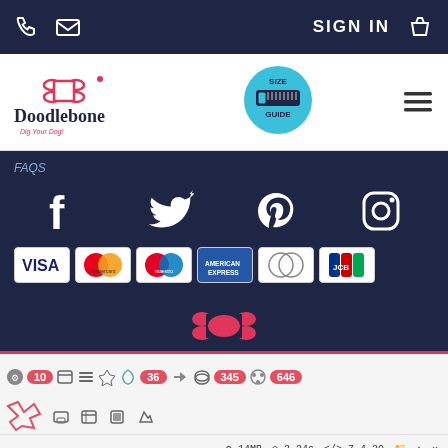SIGN IN
[Figure (logo): Doodlebone logo with bone icon and tagline 'Dig Your Dog!']
[Figure (other): Size Guide circular badge with tape measure icon]
FAQS
[Figure (other): Social media icons: Facebook, Twitter, Pinterest, Instagram on dark navy background]
[Figure (other): Payment method logos: VISA, Mastercard, Maestro, American Express, Diners Club, JCB]
[Figure (logo): Doodlebone bone/paw logo in pink on dark background]
[Figure (screenshot): Laravel Debugbar showing: 10 queries, 36 items, 345 DB entries, 646 items; memory 14MB, time 3.34s, PHP 7.4.30; GET {fallbackPlaceholder}]